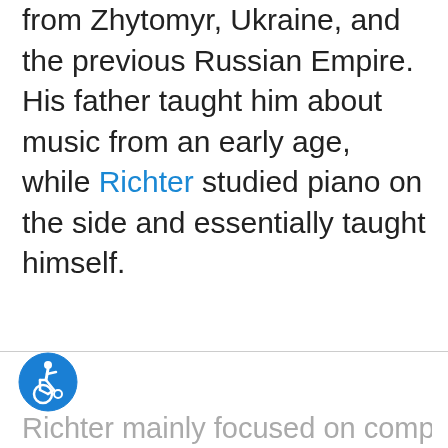from Zhytomyr, Ukraine, and the previous Russian Empire. His father taught him about music from an early age, while Richter studied piano on the side and essentially taught himself.
[Figure (logo): Blue circular accessibility icon showing a person in a wheelchair]
Richter mainly focused on composing in his